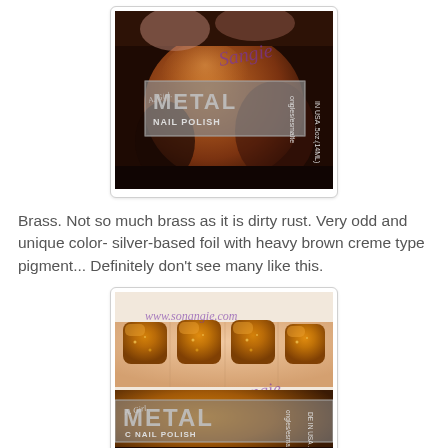[Figure (photo): Close-up of a LA Girl Metallic nail polish bottle in a brown/rust/brass color, showing the label text 'METAL NAIL POLISH' with a watermark 'Sangie']
Brass. Not so much brass as it is dirty rust. Very odd and unique color- silver-based foil with heavy brown creme type pigment... Definitely don't see many like this.
[Figure (photo): Photo of hand with nails painted in brass/rust LA Girl Metallic nail polish, showing the bottle below the nails with watermark 'www.sonangie.com' and 'Sonangie']